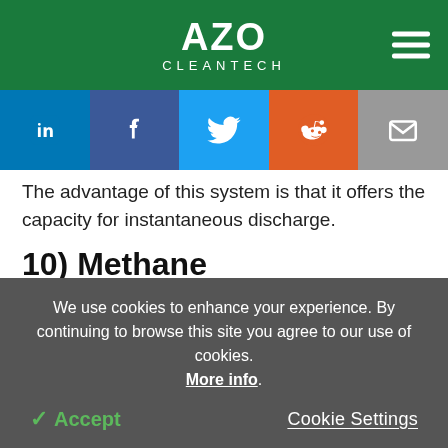AZO CLEANTECH
[Figure (other): Social share buttons: LinkedIn, Facebook, Twitter, Reddit, Email]
The advantage of this system is that it offers the capacity for instantaneous discharge.
10) Methane
German researchers have developed a way to take the products of biomass gasification to produce
We use cookies to enhance your experience. By continuing to browse this site you agree to our use of cookies. More info. Accept   Cookie Settings